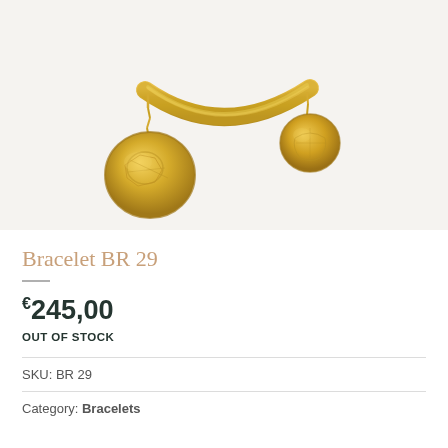[Figure (photo): Gold bracelet with curved bar design and two coin/medallion charms hanging from chains on each end, photographed on white background]
Bracelet BR 29
€245,00
OUT OF STOCK
SKU: BR 29
Category: Bracelets